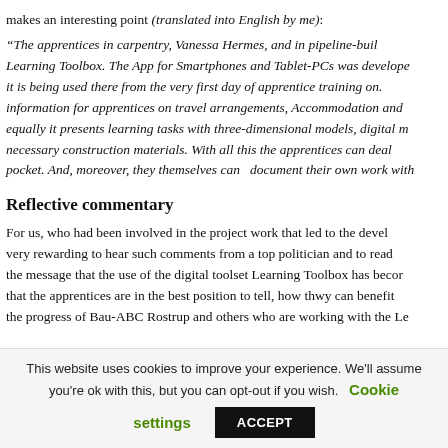makes an interesting point (translated into English by me):
“The apprentices in carpentry, Vanessa Hermes, and in pipeline-buil… Learning Toolbox. The App for Smartphones and Tablet-PCs was develope… it is being used there from the very first day of apprentice training on. … information for apprentices on travel arrangements, Accommodation and … equally it presents learning tasks with three-dimensional models, digital m… necessary construction materials. With all this the apprentices can deal … pocket. And, moreover, they themselves can  document their own work with…
Reflective commentary
For us, who had been involved in the project work that led to the devel… very rewarding to hear such comments from a top politician and to read … the message that the use of the digital toolset Learning Toolbox has becor… that the apprentices are in the best position to tell, how thwy can benefit … the progress of Bau-ABC Rostrup and others who are working with the Le…
This website uses cookies to improve your experience. We'll assume you're ok with this, but you can opt-out if you wish. Cookie settings ACCEPT